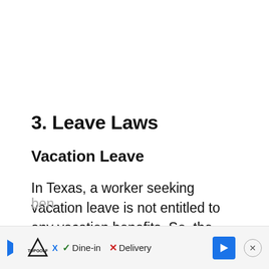3. Leave Laws
Vacation Leave
In Texas, a worker seeking vacation leave is not entitled to any vacation benefits. So, the choice to offer the ben[efits is up to the] em[ployer com]ny
[Figure (other): Advertisement bar: TopGolf logo with play button, Dine-in (checkmark) and Delivery (X) options, blue navigation arrow button, and close (X) button]